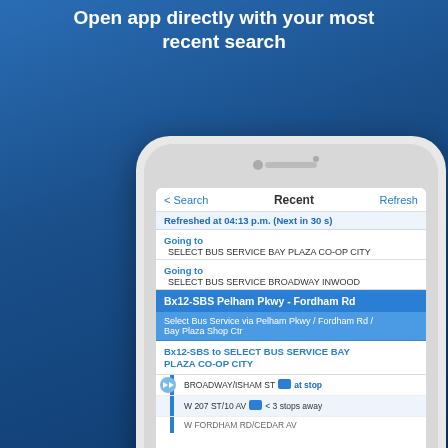Open app directly with your most recent search
[Figure (screenshot): iPhone screenshot showing a transit app with recent searches. Nav bar shows '< Search', 'Recent', 'Refresh'. Shows 'Refreshed at 04:13 p.m. (Next in 30 s)', two 'Going to' destinations for SELECT BUS SERVICE BAY PLAZA CO-OP CITY and SELECT BUS SERVICE BROADWAY INWOOD, a highlighted route 'Bx12-SBS Pelham Pkwy - Fordham Rd', description 'Select Bus Service via Pelham Pkwy / Fordham Rd / Bay Plaza Shop Ctr', then 'Bx12-SBS to SELECT BUS SERVICE BAY PLAZA CO-OP CITY', followed by stops: BROADWAY/ISHAM ST at stop, W 207 ST/10 AV < 3 stops away, W FORDHAM RD/CEDAR AV (partially visible)]